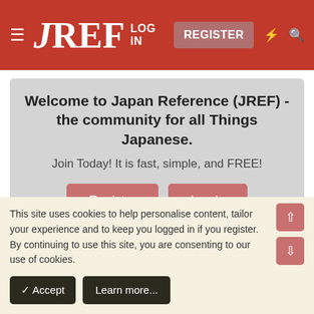JREF | LOG IN | REGISTER
Welcome to Japan Reference (JREF) - the community for all Things Japanese.
Join Today! It is fast, simple, and FREE!
Register | Log in
Japanese News & Hot Topics
Japan Times on Foreign Crime in Japan
This site uses cookies to help personalise content, tailor your experience and to keep you logged in if you register.
By continuing to use this site, you are consenting to our use of cookies.
✓ Accept | Learn more...